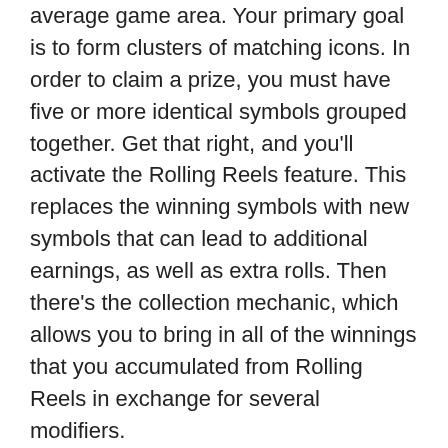average game area. Your primary goal is to form clusters of matching icons. In order to claim a prize, you must have five or more identical symbols grouped together. Get that right, and you'll activate the Rolling Reels feature. This replaces the winning symbols with new symbols that can lead to additional earnings, as well as extra rolls. Then there's the collection mechanic, which allows you to bring in all of the winnings that you accumulated from Rolling Reels in exchange for several modifiers.
For example, collecting 21 symbols triggers the Pot O' Gold, bringing new wilds to the reels. Another 21 symbols lead to Rainbow Road. Here, standard icons are replacedwith even more wilds. There are additional bonuses for landing 63, 84 and 125 symbols simultaneously.
Given the high win potential of Lucky Leprechaun Clusters, it's fair to say that the game is worth a try. No